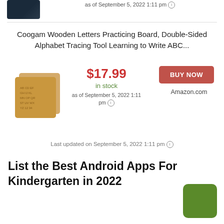[Figure (photo): Small product image of an electronic device with dark background at top of page]
as of September 5, 2022 1:11 pm ⓘ
Coogam Wooden Letters Practicing Board, Double-Sided Alphabet Tracing Tool Learning to Write ABC...
[Figure (photo): Coogam wooden letter tracing board product image showing two tan/wooden boards with alphabet letters]
$17.99
in stock
as of September 5, 2022 1:11 pm ⓘ
BUY NOW
Amazon.com
Last updated on September 5, 2022 1:11 pm ⓘ
List the Best Android Apps For Kindergarten in 2022